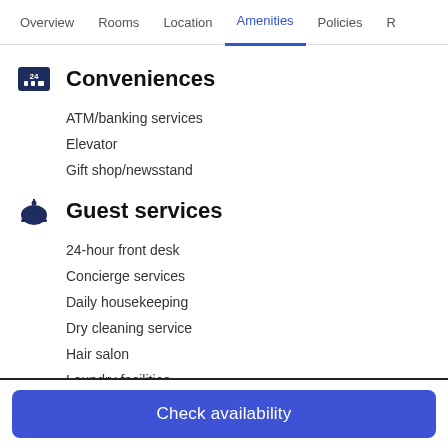Overview | Rooms | Location | Amenities | Policies | R
Conveniences
ATM/banking services
Elevator
Gift shop/newsstand
Guest services
24-hour front desk
Concierge services
Daily housekeeping
Dry cleaning service
Hair salon
Laundry facilities
Luggage storage
Check availability